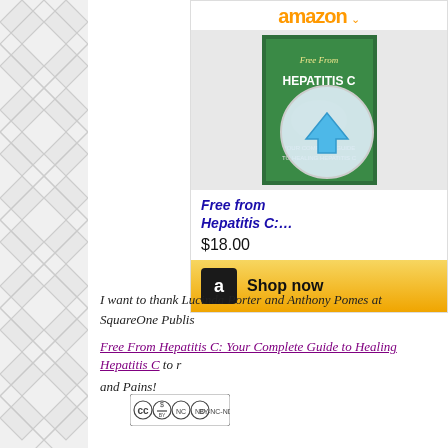[Figure (illustration): Left side decorative lattice/diamond pattern panel in light gray]
[Figure (illustration): Amazon product widget showing 'Free From Hepatitis C...' book for $18.00 with Shop now button]
I want to thank Lucinda Porter and Anthony Pomes at SquareOne Publis...
Free From Hepatitis C: Your Complete Guide to Healing Hepatitis C to ... and Pains!
[Figure (logo): Creative Commons BY-NC-ND license badge]